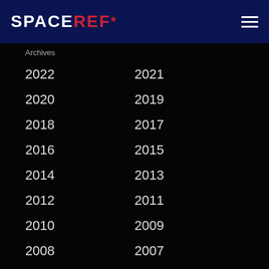SPACEREF*
Archives
2022
2021
2020
2019
2018
2017
2016
2015
2014
2013
2012
2011
2010
2009
2008
2007
2006
2005
2004
2003
2002
2001
2000
1999
1998
1997
1996
1995
1994
1993